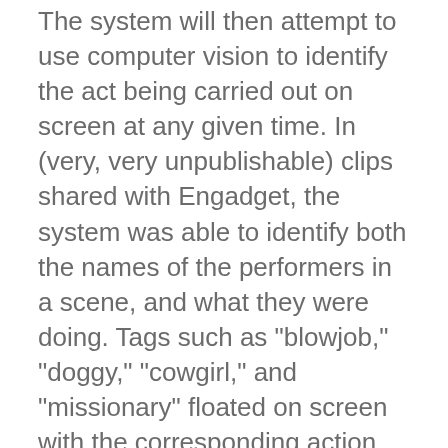The system will then attempt to use computer vision to identify the act being carried out on screen at any given time. In (very, very unpublishable) clips shared with Engadget, the system was able to identify both the names of the performers in a scene, and what they were doing. Tags such as "blowjob," "doggy," "cowgirl," and "missionary" floated on screen with the corresponding action. The system is also capable of, for instance, identifying blonde performers and adding the requisite tags.
Currently, PornHub groups videos by what other people watched on their research trail, combined with the aforementioned tags. In the future, it's hoped that visitors will be able to find clips according to PornHub's AI smarts, with a confidence rating attached. If you're